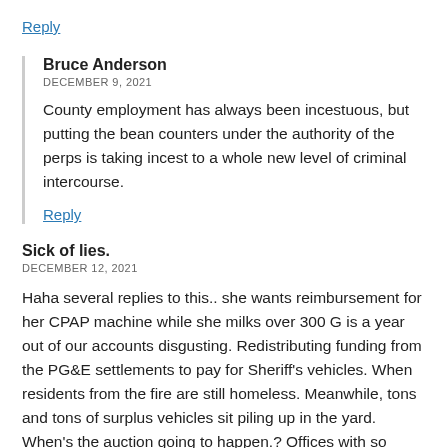Reply
Bruce Anderson
DECEMBER 9, 2021
County employment has always been incestuous, but putting the bean counters under the authority of the perps is taking incest to a whole new level of criminal intercourse.
Reply
Sick of lies.
DECEMBER 12, 2021
Haha several replies to this.. she wants reimbursement for her CPAP machine while she milks over 300 G is a year out of our accounts disgusting. Redistributing funding from the PG&E settlements to pay for Sheriff's vehicles. When residents from the fire are still homeless. Meanwhile, tons and tons of surplus vehicles sit piling up in the yard. When's the auction going to happen.? Offices with so many issues you dont know where to